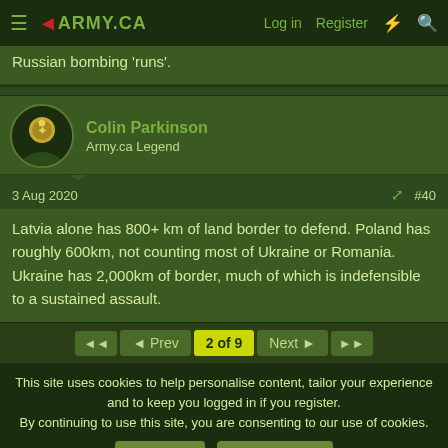ARMY.CA — Log in   Register
Russian bombing 'runs'.
Colin Parkinson
Army.ca Legend
3 Aug 2020   #40
Latvia alone has 800+ km of land border to defend. Poland has roughly 600km, not counting most of Ukraine or Romania. Ukraine has 2,000km of border, much of which is indefensible to a sustained assault.
◄◄   ◄ Prev   2 of 9   Next ►   ►►
This site uses cookies to help personalise content, tailor your experience and to keep you logged in if you register.
By continuing to use this site, you are consenting to our use of cookies.
Accept   Learn more...